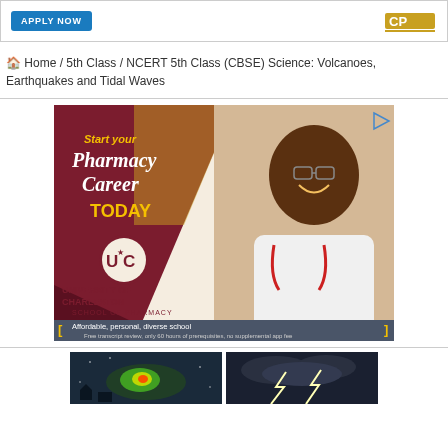[Figure (screenshot): Top advertisement banner with 'APPLY NOW' button in blue and a logo on the right side]
🏠 Home / 5th Class / NCERT 5th Class (CBSE) Science: Volcanoes, Earthquakes and Tidal Waves
[Figure (photo): Advertisement for University of Charleston School of Pharmacy. Shows a smiling Black man in a white lab coat with a stethoscope. Text reads 'Start your Pharmacy Career TODAY', UC logo, 'University of Charleston School of Pharmacy', 'Affordable, personal, diverse school', 'Free transcript review, only 60 hours of prerequisites, no supplemental app fee']
[Figure (photo): Two thumbnail images at the bottom: left shows a weather/storm radar image, right shows lightning bolts against a dark sky]